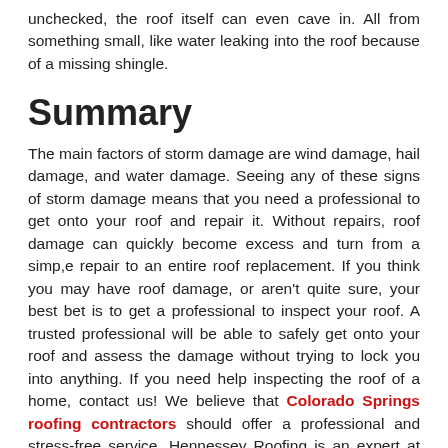unchecked, the roof itself can even cave in. All from something small, like water leaking into the roof because of a missing shingle.
Summary
The main factors of storm damage are wind damage, hail damage, and water damage. Seeing any of these signs of storm damage means that you need a professional to get onto your roof and repair it. Without repairs, roof damage can quickly become excess and turn from a simp,e repair to an entire roof replacement. If you think you may have roof damage, or aren't quite sure, your best bet is to get a professional to inspect your roof. A trusted professional will be able to safely get onto your roof and assess the damage without trying to lock you into anything. If you need help inspecting the roof of a home, contact us! We believe that Colorado Springs roofing contractors should offer a professional and stress-free service. Hennessey Roofing is an expert at inspecting and installing roofing and will start right away. We have intimate knowledge of all the permits required